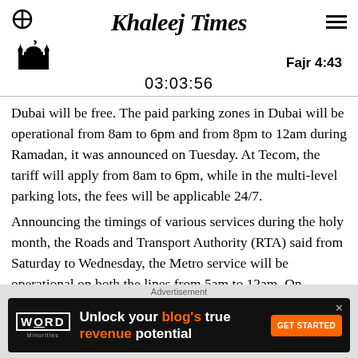Khaleej Times
Fajr 4:43
03:03:56
Dubai will be free. The paid parking zones in Dubai will be operational from 8am to 6pm and from 8pm to 12am during Ramadan, it was announced on Tuesday. At Tecom, the tariff will apply from 8am to 6pm, while in the multi-level parking lots, the fees will be applicable 24/7.
Announcing the timings of various services during the holy month, the Roads and Transport Authority (RTA) said from Saturday to Wednesday, the Metro service will be operational on both the lines from 5am to 12am. On Thursdays, the service will be from 5am to 1am (the next day); and Fridays from 10am to 1am.
[Figure (screenshot): Advertisement banner: Word Minorities logo on dark background with text 'Unlock your blog's true revenue potential' and orange GET STARTED button]